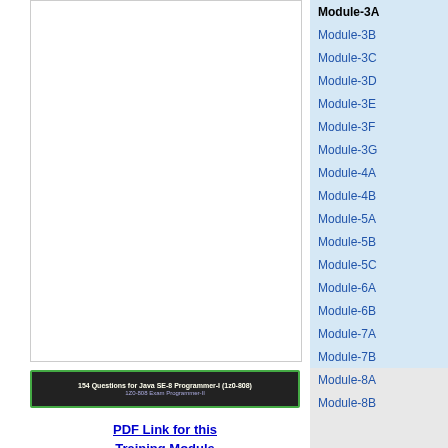[Figure (screenshot): White rectangle box placeholder area on left column]
[Figure (screenshot): Screenshot thumbnail showing '154 Questions for Java SE-8 Programmer-I (1z0-808)' with green border on dark background]
PDF Link for this Training Module Download Here
Module-3A
Module-3B
Module-3C
Module-3D
Module-3E
Module-3F
Module-3G
Module-4A
Module-4B
Module-5A
Module-5B
Module-5C
Module-6A
Module-6B
Module-7A
Module-7B
Module-8A
Module-8B